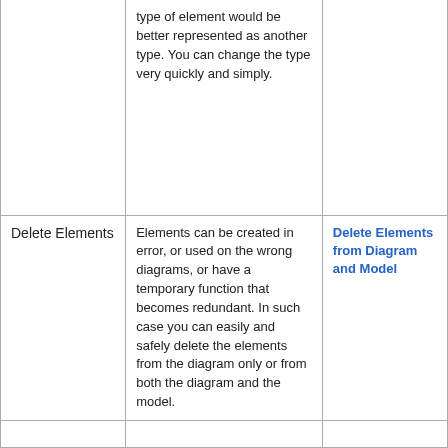|  | type of element would be better represented as another type. You can change the type very quickly and simply. |  |
| Delete Elements | Elements can be created in error, or used on the wrong diagrams, or have a temporary function that becomes redundant. In such case you can easily and safely delete the elements from the diagram only or from both the diagram and the model. | Delete Elements from Diagram and Model |
|  |  |  |